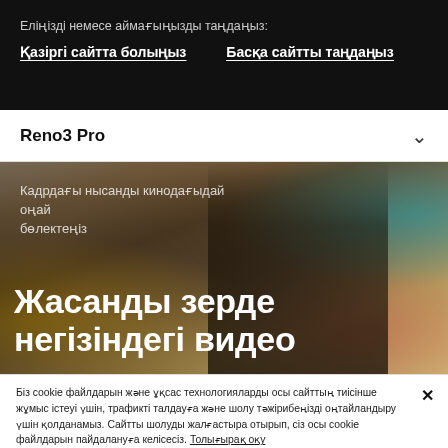Еліңізді немесе аймағыңызды таңдаңыз:
Қазіргі сайтта болыңыз    Басқа сайтты таңдаңыз
Reno3 Pro
[Figure (photo): Hero image of a woman in a black leather jacket in a crowd, with Kazakh text overlay reading 'Кадрдағы нысанды кинодағыдай оңай бөлектеңіз' and large text 'Жасанды зерде негізіндегі видео']
Кадрдағы нысанды кинодағыдай оңай бөлектеңіз
Жасанды зерде негізіндегі видео
Біз cookie файлдарын және ұқсас технологияларды осы сайттың тиісінше жұмыс істеуі үшін, трафикті талдауға және шолу тәжірибеңізді оңтайландыру үшін қолданамыз. Сайтты шолуды жалғастыра отырып, сіз осы cookie файлдарын пайдалануға келісесіз. Толығырақ оқу